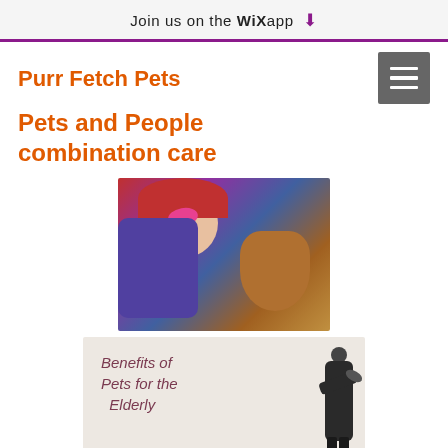Join us on the WiX app
Purr Fetch Pets
Pets and People combination care
[Figure (photo): Elderly woman wearing pink heart-shaped sunglasses and a red hat, holding a small dog, making a funny face]
[Figure (infographic): Benefits of Pets for the Elderly - image with text overlay showing an elderly person holding a small animal]
[Figure (photo): Partial view of what appears to be an elderly person's hands]